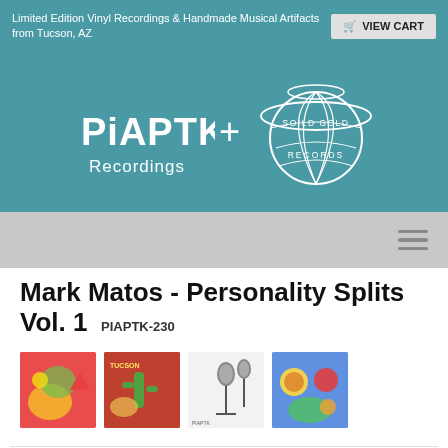Limited Edition Vinyl Recordings & Handmade Musical Artifacts from Tucson, AZ
[Figure (logo): PIAPTK Recordings + Soild Gold Records logo banner on teal background]
[Figure (screenshot): Navigation bar with hamburger menu icon]
Mark Matos - Personality Splits Vol. 1  PIAPTK-230
[Figure (photo): Four album artwork thumbnails for Mark Matos - Personality Splits Vol. 1]